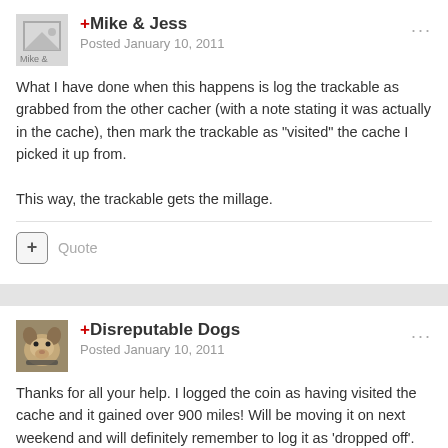+Mike & Jess
Posted January 10, 2011
What I have done when this happens is log the trackable as grabbed from the other cacher (with a note stating it was actually in the cache), then mark the trackable as "visited" the cache I picked it up from.

This way, the trackable gets the millage.
+ Quote
+Disreputable Dogs
Posted January 10, 2011
Thanks for all your help. I logged the coin as having visited the cache and it gained over 900 miles! Will be moving it on next weekend and will definitely remember to log it as 'dropped off'.